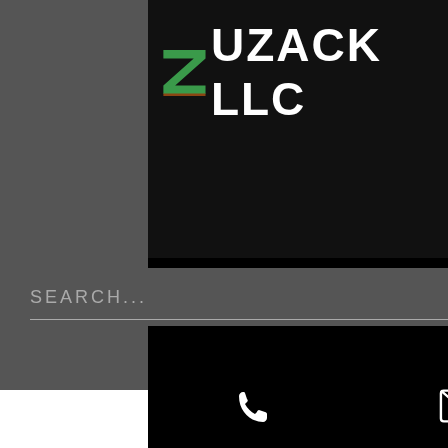[Figure (logo): Zuzack LLC logo with stylized green Z letter and white bold text ZUZACK LLC on dark background]
[Figure (screenshot): Website navigation header with shopping cart icon showing 0 items, hamburger menu icon, search bar with SEARCH... placeholder and magnifying glass icon]
[Figure (screenshot): Footer social icons: phone, email/envelope, and Facebook icons on black background]